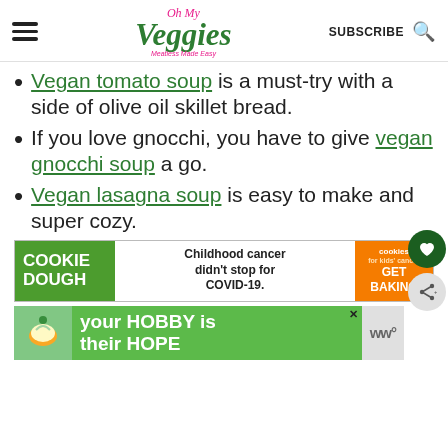Oh My Veggies — Meatless Made Easy | SUBSCRIBE
Vegan tomato soup is a must-try with a side of olive oil skillet bread.
If you love gnocchi, you have to give vegan gnocchi soup a go.
Vegan lasagna soup is easy to make and super cozy.
[Figure (screenshot): Cookie Dough advertisement: 'Childhood cancer didn't stop for COVID-19. Cookies for Kids Cancer — GET BAKING']
[Figure (screenshot): Cookies for Kids Cancer advertisement: 'your HOBBY is their HOPE']